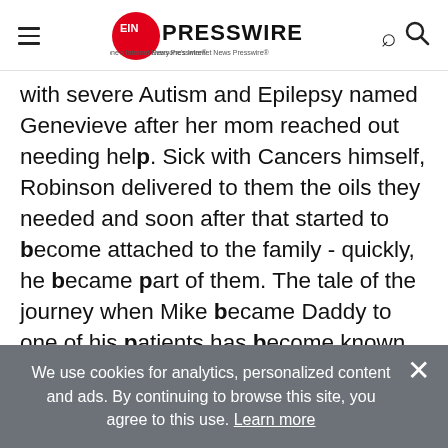EIN PRESSWIRE — Everyone's Internet News Presswire
with severe Autism and Epilepsy named Genevieve after her mom reached out needing help. Sick with Cancers himself, Robinson delivered to them the oils they needed and soon after that started to become attached to the family - quickly, he became part of them. The tale of the journey when Mike became Daddy to one of his patients has become known as the Cannabis Love Story.
Robinson and Uhalley announced last month they
We use cookies for analytics, personalized content and ads. By continuing to browse this site, you agree to this use. Learn more